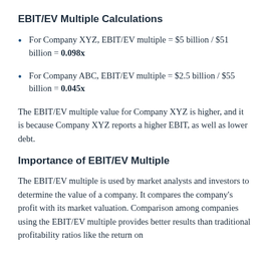EBIT/EV Multiple Calculations
For Company XYZ, EBIT/EV multiple = $5 billion / $51 billion = 0.098x
For Company ABC, EBIT/EV multiple = $2.5 billion / $55 billion = 0.045x
The EBIT/EV multiple value for Company XYZ is higher, and it is because Company XYZ reports a higher EBIT, as well as lower debt.
Importance of EBIT/EV Multiple
The EBIT/EV multiple is used by market analysts and investors to determine the value of a company. It compares the company's profit with its market valuation. Comparison among companies using the EBIT/EV multiple provides better results than traditional profitability ratios like the return on